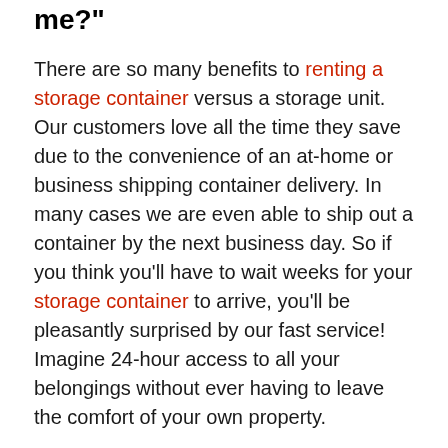me?"
There are so many benefits to renting a storage container versus a storage unit. Our customers love all the time they save due to the convenience of an at-home or business shipping container delivery. In many cases we are even able to ship out a container by the next business day. So if you think you'll have to wait weeks for your storage container to arrive, you'll be pleasantly surprised by our fast service! Imagine 24-hour access to all your belongings without ever having to leave the comfort of your own property.
Not only are they convenient, but our storage containers are completely secure. From sturdy steel construction to our patented Rhino Locking System, there's a reason that our containers are often requested by hospitals, offices, schools, and